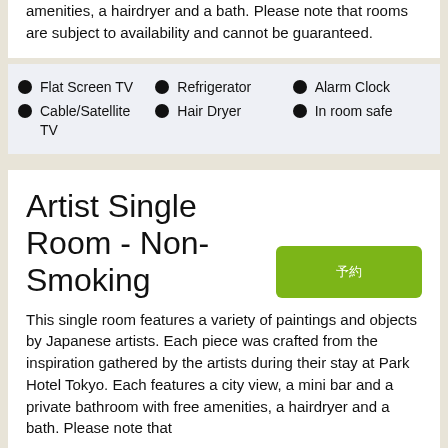amenities, a hairdryer and a bath. Please note that rooms are subject to availability and cannot be guaranteed.
Flat Screen TV
Cable/Satellite TV
Refrigerator
Hair Dryer
Alarm Clock
In room safe
Artist Single Room - Non-Smoking
This single room features a variety of paintings and objects by Japanese artists. Each piece was crafted from the inspiration gathered by the artists during their stay at Park Hotel Tokyo. Each features a city view, a mini bar and a private bathroom with free amenities, a hairdryer and a bath. Please note that